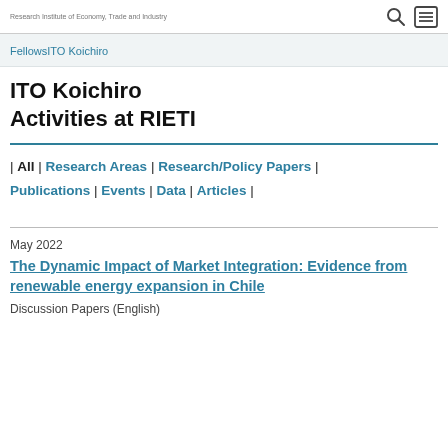Research Institute of Economy, Trade and Industry
Fellows | ITO Koichiro
ITO Koichiro
Activities at RIETI
| All | Research Areas | Research/Policy Papers | Publications | Events | Data | Articles |
May 2022
The Dynamic Impact of Market Integration: Evidence from renewable energy expansion in Chile
Discussion Papers (English)